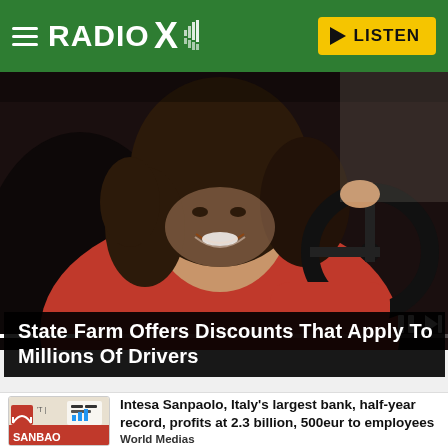RADIO X — LISTEN
[Figure (photo): Woman with curly hair in red sweater smiling while sitting in driver's seat of a car, holding the steering wheel]
State Farm Offers Discounts That Apply To Millions Of Drivers
[Figure (photo): Intesa Sanpaolo bank sign/logo thumbnail]
Intesa Sanpaolo, Italy's largest bank, half-year record, profits at 2.3 billion, 500eur to employees
World Medias